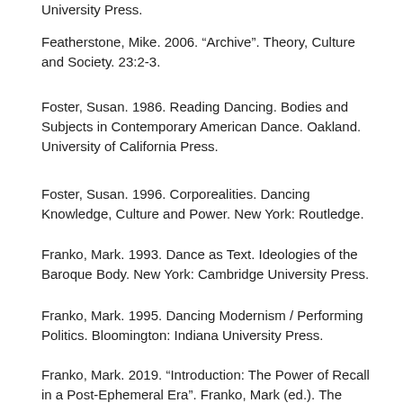University Press.
Featherstone, Mike. 2006. “Archive”. Theory, Culture and Society. 23:2-3.
Foster, Susan. 1986. Reading Dancing. Bodies and Subjects in Contemporary American Dance. Oakland. University of California Press.
Foster, Susan. 1996. Corporealities. Dancing Knowledge, Culture and Power. New York: Routledge.
Franko, Mark. 1993. Dance as Text. Ideologies of the Baroque Body. New York: Cambridge University Press.
Franko, Mark. 1995. Dancing Modernism / Performing Politics. Bloomington: Indiana University Press.
Franko, Mark. 2019. “Introduction: The Power of Recall in a Post-Ephemeral Era”. Franko, Mark (ed.). The Oxford